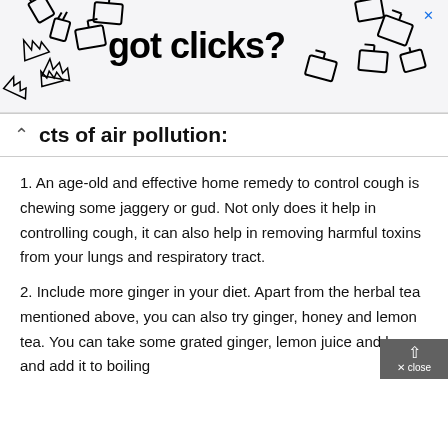[Figure (illustration): Advertisement banner with 'got clicks?' text surrounded by multiple cursor/pointer hand icons, with an X close button in the top-right corner]
cts of air pollution:
1. An age-old and effective home remedy to control cough is chewing some jaggery or gud. Not only does it help in controlling cough, it can also help in removing harmful toxins from your lungs and respiratory tract.
2. Include more ginger in your diet. Apart from the herbal tea mentioned above, you can also try ginger, honey and lemon tea. You can take some grated ginger, lemon juice and honey and add it to boiling